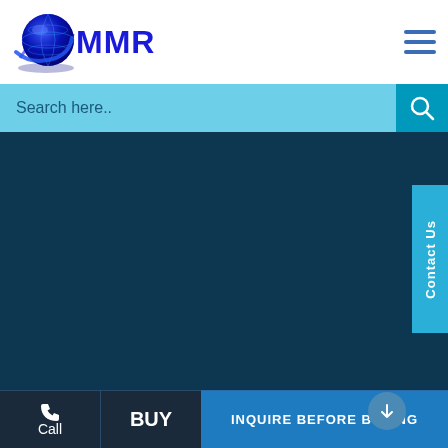[Figure (logo): MMR globe logo with blue globe icon and blue MMR text]
[Figure (other): Hamburger menu icon (three horizontal blue lines)]
Search here..
[Figure (other): Dark teal background section filling the middle of the page]
Contact Us
> Healthcare
Call
BUY
INQUIRE BEFORE BUYING